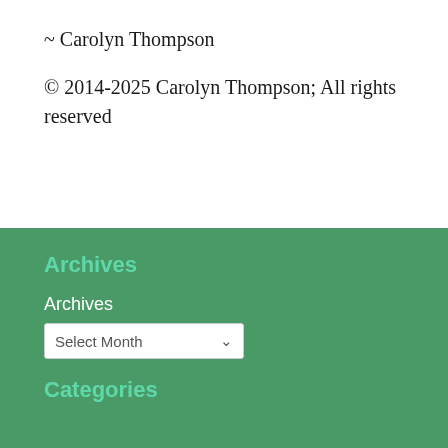~ Carolyn Thompson
© 2014-2025 Carolyn Thompson; All rights reserved
Archives
Archives
Select Month
Categories